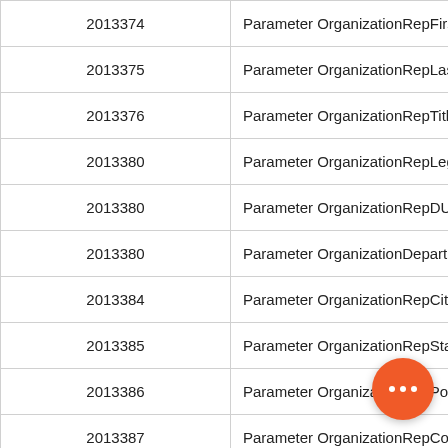| Code | Description |
| --- | --- |
| 2013374 | Parameter OrganizationRepFirstName is To |
| 2013375 | Parameter OrganizationRepLastName is To |
| 2013376 | Parameter OrganizationRepTitle is TooLong |
| 2013380 | Parameter OrganizationRepLegalName is T |
| 2013380 | Parameter OrganizationRepDUNS is TooLo |
| 2013380 | Parameter OrganizationDepartment is Tool |
| 2013384 | Parameter OrganizationRepCity is TooLong |
| 2013385 | Parameter OrganizationRepStateProvince i |
| 2013386 | Parameter OrganizationRepPostalCode is T |
| 2013387 | Parameter OrganizationRepCountry |
| 2013388 | Parameter OrganizationRepPhone is Too |